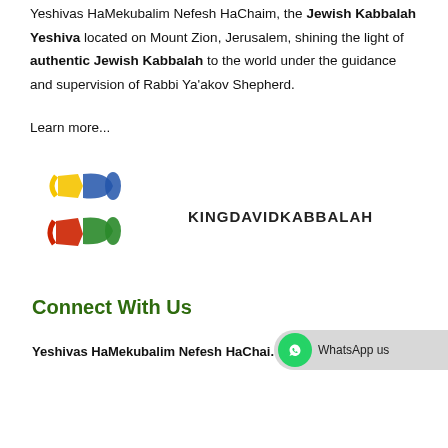Yeshivas HaMekubalim Nefesh HaChaim, the Jewish Kabbalah Yeshiva located on Mount Zion, Jerusalem, shining the light of authentic Jewish Kabbalah to the world under the guidance and supervision of Rabbi Ya'akov Shepherd.
Learn more...
[Figure (logo): KingDavidKabbalah logo with colorful scrolls and text KINGDAVIDKABBALAH]
Connect With Us
Yeshivas HaMekubalim Nefesh HaChai...
[Figure (other): WhatsApp us button with green WhatsApp icon and grey rounded bubble]
Download an ebook from our Library today for free with promo code FREEEBOOK.  × Dismiss